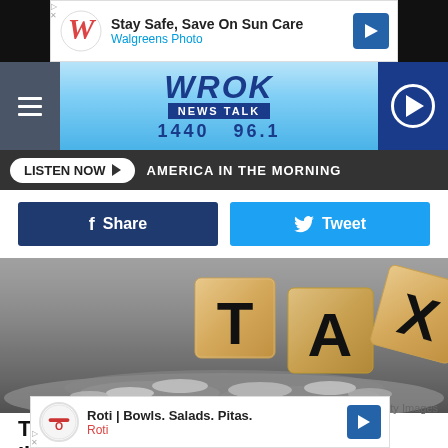[Figure (screenshot): Walgreens Photo advertisement banner: 'Stay Safe, Save On Sun Care' with Walgreens logo and navigation arrow]
[Figure (screenshot): WROK News Talk 1440 96.1 radio station header with hamburger menu, logo, and play button]
LISTEN NOW ▶  AMERICA IN THE MORNING
[Figure (screenshot): Facebook Share button and Twitter Tweet button]
[Figure (photo): Wooden letter blocks spelling TAX stacked on pile of coins]
Getty Images
The "Leveling the Playing Field for Illinois Retail Act" C...
[Figure (screenshot): Roti | Bowls. Salads. Pitas. advertisement banner at bottom]